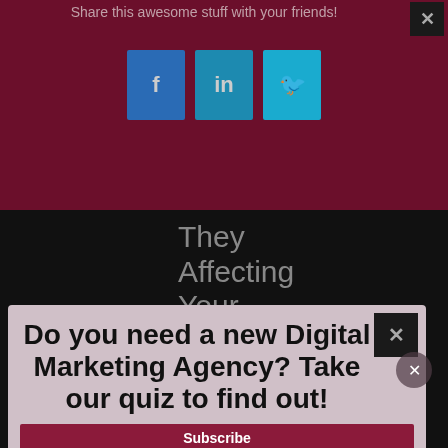Share this awesome stuff with your friends!
[Figure (infographic): Three social share buttons: Facebook (f), LinkedIn (in), Twitter (bird icon)]
They Affecting Your Google Ads Data?
Do you need a new Digital Marketing Agency? Take our quiz to find out!
Subscribe
Enter Your Email Address